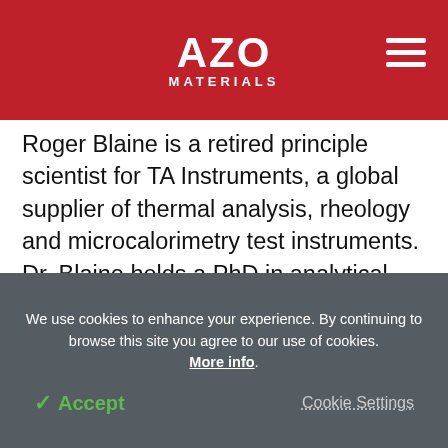AZO MATERIALS
Roger Blaine is a retired principle scientist for TA Instruments, a global supplier of thermal analysis, rheology and microcalorimetry test instruments. Dr. Blaine holds a PhD in analytical chemistry from Oregon State University. He has over 100 publications on the applications of thermal analysis. Dr. Blaine is a founding member of the ASTM International Committee on Thermal Analysis and the Thermal
We use cookies to enhance your experience. By continuing to browse this site you agree to our use of cookies. More info.
Accept   Cookie Settings